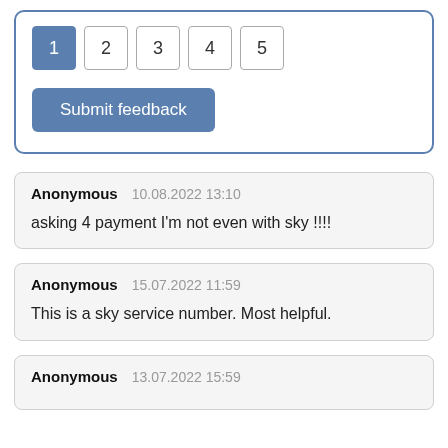[Figure (screenshot): Feedback rating widget with numbered buttons 1-5 (1 selected/highlighted in blue) and a 'Submit feedback' button in blue]
Anonymous  10.08.2022 13:10
asking 4 payment I'm not even with sky !!!!
Anonymous  15.07.2022 11:59
This is a sky service number. Most helpful.
Anonymous  13.07.2022 15:59